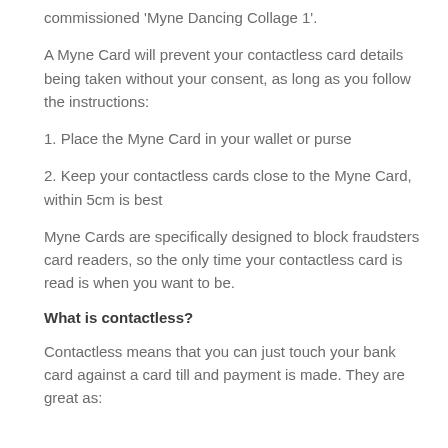commissioned 'Myne Dancing Collage 1'.
A Myne Card will prevent your contactless card details being taken without your consent, as long as you follow the instructions:
1. Place the Myne Card in your wallet or purse
2. Keep your contactless cards close to the Myne Card, within 5cm is best
Myne Cards are specifically designed to block fraudsters card readers, so the only time your contactless card is read is when you want to be.
What is contactless?
Contactless means that you can just touch your bank card against a card till and payment is made. They are great as: